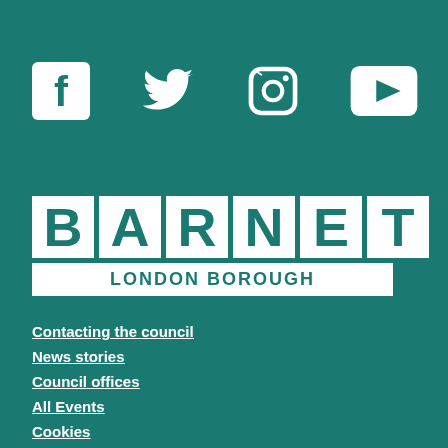[Figure (illustration): Four social media icons in white on teal background: Facebook, Twitter, Instagram, YouTube]
[Figure (logo): Barnet London Borough logo - white boxes with teal letters spelling BARNET and white bar reading LONDON BOROUGH]
Contacting the council
News stories
Council offices
All Events
Cookies
www.gov.uk